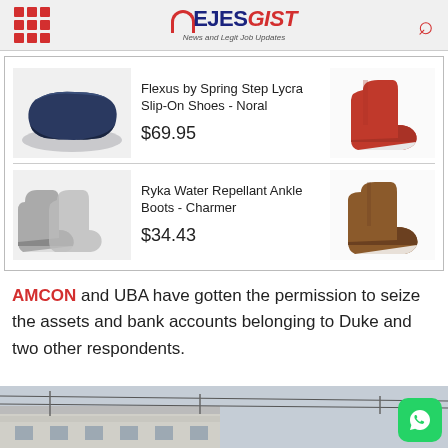EJESGIST - News and Legit Job Updates
[Figure (screenshot): Advertisement showing two shoe products: Flexus by Spring Step Lycra Slip-On Shoes - Noral at $69.95, and Ryka Water Repellant Ankle Boots - Charmer at $34.43, each with product images on left and right.]
AMCON and UBA have gotten the permission to seize the assets and bank accounts belonging to Duke and two other respondents.
[Figure (photo): Partial photo of a building exterior with power lines visible against a sky background.]